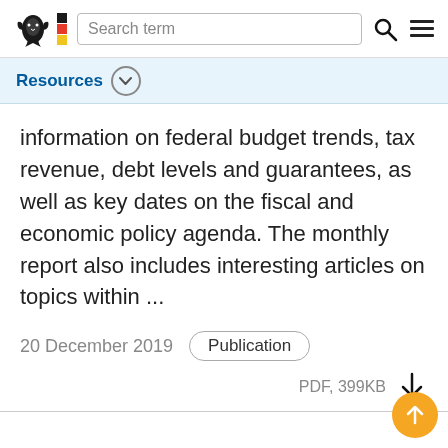Search term
Resources
information on federal budget trends, tax revenue, debt levels and guarantees, as well as key dates on the fiscal and economic policy agenda. The monthly report also includes interesting articles on topics within ...
20 December 2019  Publication
PDF, 399KB